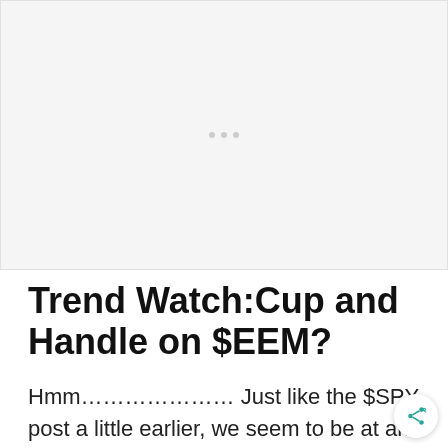[Figure (other): Advertisement placeholder area with light gray background and three small gray dots centered near the top]
Trend Watch:Cup and Handle on $EEM?
Hmm………………… Just like the $SPY post a little earlier, we seem to be at an important juncture next week. While it